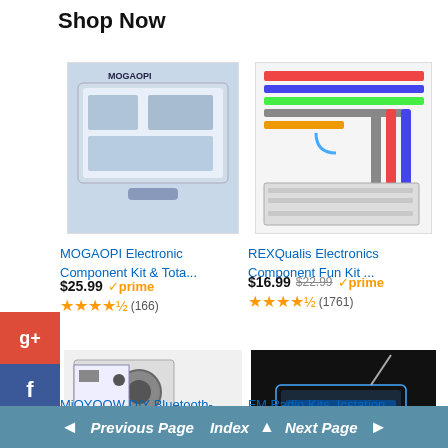Shop Now
[Figure (photo): MOGAOPI Electronic Component Kit in a plastic organizer case with components]
MOGAOPI Electronic Component Kit & Tota...
$25.99 ✓prime ★★★★½ (166)
[Figure (photo): REXQualis Electronics Component Fun Kit with resistors, LEDs, wires laid out]
REXQualis Electronics Component Fun Kit ...
$16.99 $22.99 ✓prime ★★★★½ (1761)
[Figure (photo): MiOYOOW DIY Bluetooth-Compatible Speaker Kit with remote control]
MiOYOOW DIY Bluetooth-Compatible Speaker K...
[Figure (photo): FM Radio Kit Icstation Soldering Projects DIY Electronics]
FM Radio Kits, Icstation Soldering Projects DIY El...
◄ Previous Page  Index ▲  Next Page ►